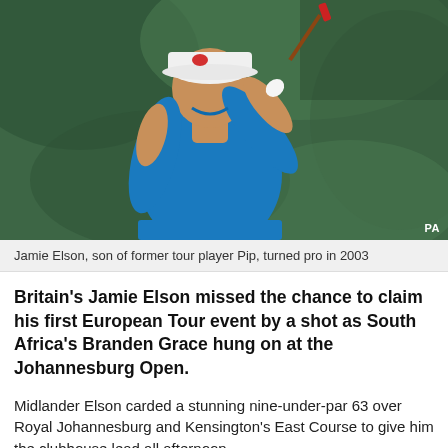[Figure (photo): A golfer in a blue polo shirt and white cap mid-swing with a club, photographed against a blurred green background. Photo credit: PA]
Jamie Elson, son of former tour player Pip, turned pro in 2003
Britain's Jamie Elson missed the chance to claim his first European Tour event by a shot as South Africa's Branden Grace hung on at the Johannesburg Open.
Midlander Elson carded a stunning nine-under-par 63 over Royal Johannesburg and Kensington's East Course to give him the clubhouse lead all afternoon.